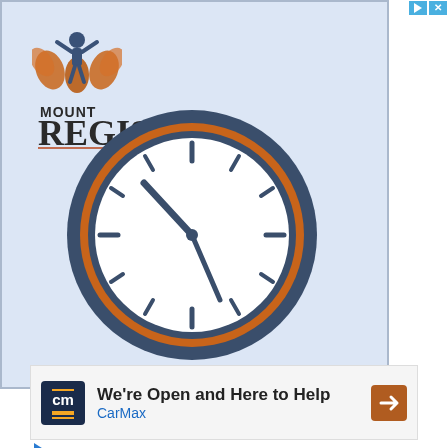[Figure (logo): Mount Regis Center logo with orange figure and decorative plant illustration on left, text 'MOUNT REGIS CENTER' on right]
[Figure (illustration): Analog clock face showing approximately 10:10, dark blue/navy outer ring, orange inner ring, white face, dark blue hour and minute hands]
[Figure (infographic): CarMax advertisement banner: 'We're Open and Here to Help' with CarMax logo and orange arrow icon]